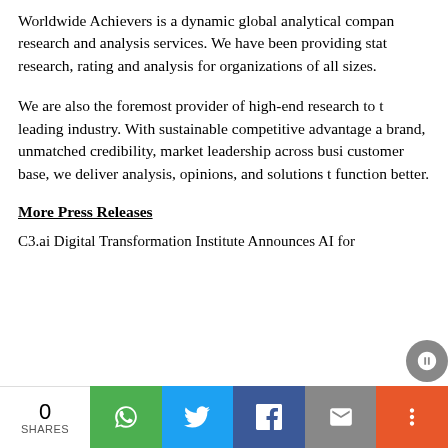Worldwide Achievers is a dynamic global analytical company research and analysis services. We have been providing statistical research, rating and analysis for organizations of all sizes.
We are also the foremost provider of high-end research to the leading industry. With sustainable competitive advantage and brand, unmatched credibility, market leadership across business customer base, we deliver analysis, opinions, and solutions to function better.
More Press Releases
C3.ai Digital Transformation Institute Announces AI for Energy a